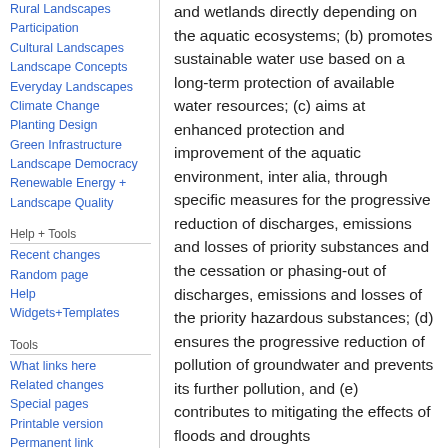Rural Landscapes
Participation
Cultural Landscapes
Landscape Concepts
Everyday Landscapes
Climate Change
Planting Design
Green Infrastructure
Landscape Democracy
Renewable Energy + Landscape Quality
Help + Tools
Recent changes
Random page
Help
Widgets+Templates
Tools
What links here
Related changes
Special pages
Printable version
Permanent link
and wetlands directly depending on the aquatic ecosystems; (b) promotes sustainable water use based on a long-term protection of available water resources; (c) aims at enhanced protection and improvement of the aquatic environment, inter alia, through specific measures for the progressive reduction of discharges, emissions and losses of priority substances and the cessation or phasing-out of discharges, emissions and losses of the priority hazardous substances; (d) ensures the progressive reduction of pollution of groundwater and prevents its further pollution, and (e) contributes to mitigating the effects of floods and droughts
Government bodies of the EC member states are requested to implement the directive into national law and to identify...